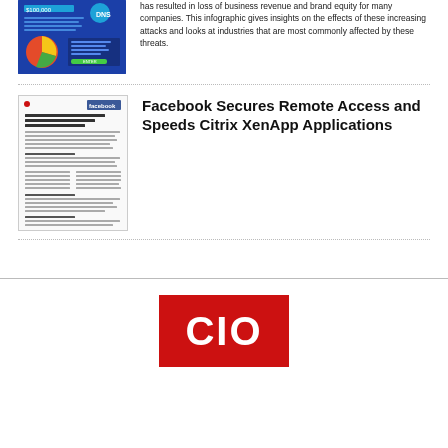[Figure (infographic): Blue infographic thumbnail showing $100,000 figure and DNS/cybersecurity themed content with pie chart graphic]
has resulted in loss of business revenue and brand equity for many companies. This infographic gives insights on the effects of these increasing attacks and looks at industries that are most commonly affected by these threats.
[Figure (screenshot): Screenshot of a white document page with Facebook blue logo button, showing a case study about Facebook Secures Remote Access and Speeds Citrix XenApp Applications]
Facebook Secures Remote Access and Speeds Citrix XenApp Applications
[Figure (logo): CIO logo — white letters CIO on red square background]